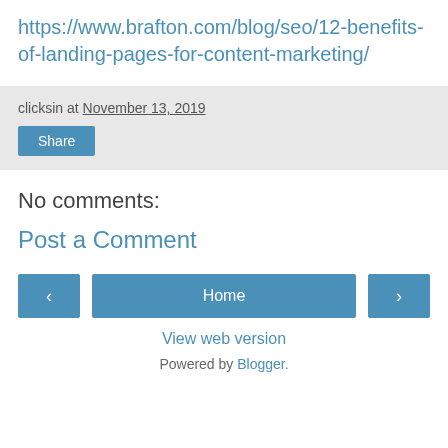https://www.brafton.com/blog/seo/12-benefits-of-landing-pages-for-content-marketing/
clicksin at November 13, 2019
Share
No comments:
Post a Comment
< Home >
View web version
Powered by Blogger.